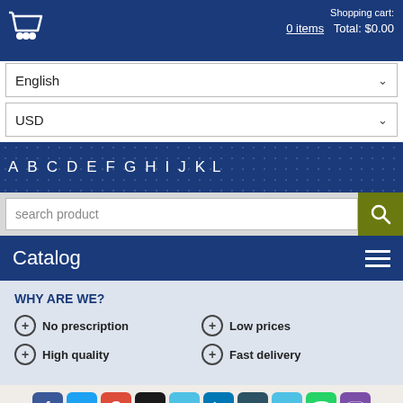[Figure (screenshot): Shopping cart icon and header bar with cart info]
Shopping cart:
0 items   Total: $0.00
English
USD
A B C D E F G H I J K L
search product
Catalog
WHY ARE WE?
No prescription
Low prices
High quality
Fast delivery
[Figure (screenshot): Social media icons row: Facebook, Twitter, Google, Digg, Delicious, LinkedIn, pencil icon, bird icon, WhatsApp, Viber]
TRICOR